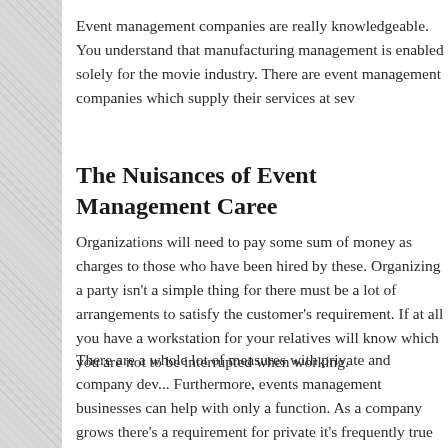Event management companies are really knowledgeable. You understand that manufacturing management is enabled solely for the movie industry. There are event management companies which supply their services at sev...
The Nuisances of Event Management Caree...
Organizations will need to pay some sum of money as charges to those who have been hired by these. Organizing a party isn't a simple thing for there must be a lot of arrangements to satisfy the customer's requirement. If at all you have a workstation for your relatives will know which you are not to be interrupted when working.
There are a whole lot of measures with private and company development events. Furthermore, events management businesses can help with only a corporate function. As a company grows there's a requirement for private development and it's frequently true that promotion is done in order to deal with greater demands and oversight.